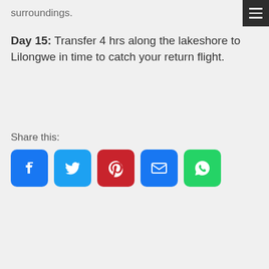surroundings.
Day 15: Transfer 4 hrs along the lakeshore to Lilongwe in time to catch your return flight.
Share this:
[Figure (infographic): Row of five social media share buttons: Facebook (blue), Twitter (light blue), Pinterest (red), Email (blue), WhatsApp (green)]